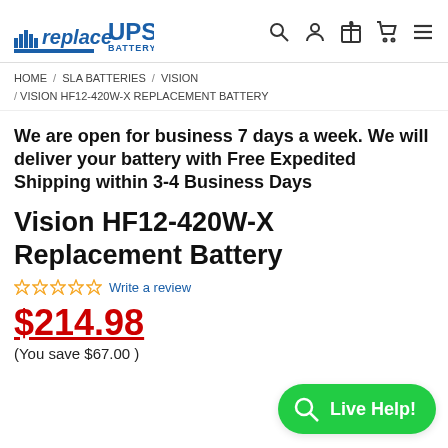replaceUPS BATTERY — navigation header with search, account, gift, cart, and menu icons
HOME / SLA BATTERIES / VISION / VISION HF12-420W-X REPLACEMENT BATTERY
We are open for business 7 days a week. We will deliver your battery with Free Expedited Shipping within 3-4 Business Days
Vision HF12-420W-X Replacement Battery
☆☆☆☆☆ Write a review
$214.98 (You save $67.00 )
[Figure (other): Live Help button with magnifying glass icon on green rounded pill button]